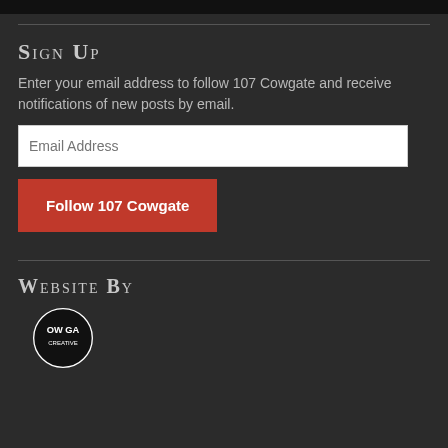[Figure (other): Black bar at top of page, partial image cutoff]
Sign Up
Enter your email address to follow 107 Cowgate and receive notifications of new posts by email.
Email Address
Follow 107 Cowgate
Website By
[Figure (logo): Partially visible circular logo with text OWG visible at top]